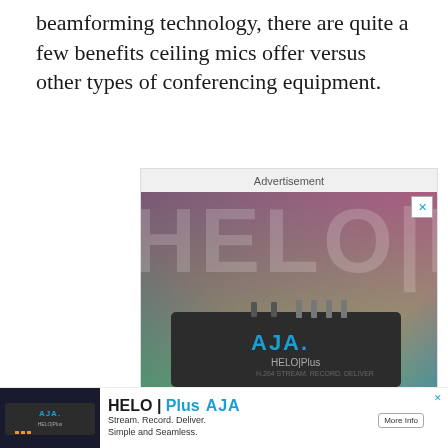beamforming technology, there are quite a few benefits ceiling mics offer versus other types of conferencing equipment.
[Figure (photo): Advertisement box showing an AJA HELO Plus streaming, recording and delivery device against a colorful gradient background. The ad includes a 'More Info' button and AJA VIDEO SYSTEMS logo.]
[Figure (photo): Bottom banner advertisement for AJA HELO Plus: 'Stream. Record. Deliver. Simple and Seamless.' with a photo of the device, AJA logo, and More Info button.]